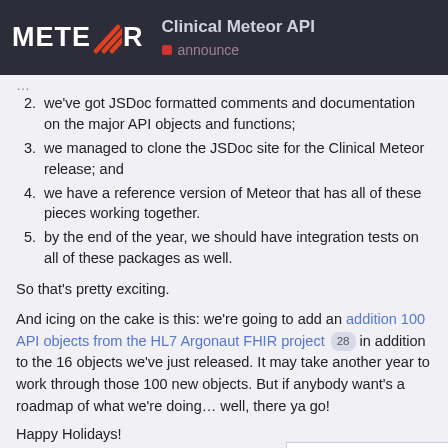Clinical Meteor API | announce
we've got JSDoc formatted comments and documentation on the major API objects and functions;
we managed to clone the JSDoc site for the Clinical Meteor release; and
we have a reference version of Meteor that has all of these pieces working together.
by the end of the year, we should have integration tests on all of these packages as well.
So that's pretty exciting.
And icing on the cake is this: we're going to add an addition 100 API objects from the HL7 Argonaut FHIR project 28 in addition to the 16 objects we've just released. It may take another year to work through those 100 new objects. But if anybody want's a roadmap of what we're doing… well, there ya go!
Happy Holidays!
1 / 9